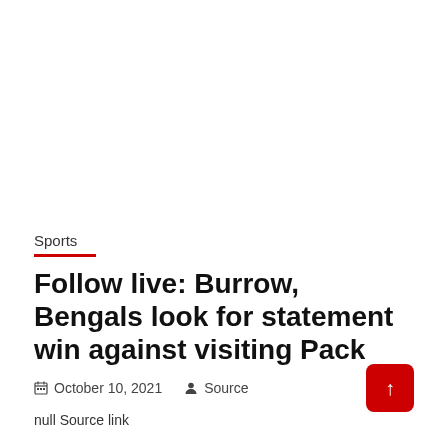Sports
Follow live: Burrow, Bengals look for statement win against visiting Pack
October 10, 2021  Source
null Source link